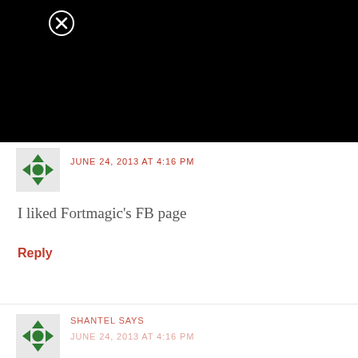[Figure (screenshot): Black rectangle covering top portion of page, representing a video or image overlay with a circular close (X) button in upper left area]
JUNE 24, 2013 AT 4:16 PM
I liked Fortmagic's FB page
Reply
SHANTEL SAYS
JUNE 24, 2013 AT 4:16 PM